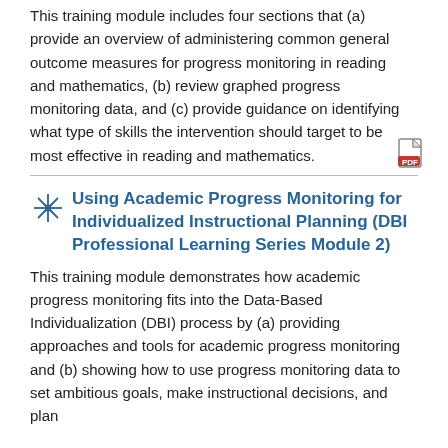This training module includes four sections that (a) provide an overview of administering common general outcome measures for progress monitoring in reading and mathematics, (b) review graphed progress monitoring data, and (c) provide guidance on identifying what type of skills the intervention should target to be most effective in reading and mathematics.
[Figure (other): PDF document icon]
Using Academic Progress Monitoring for Individualized Instructional Planning (DBI Professional Learning Series Module 2)
This training module demonstrates how academic progress monitoring fits into the Data-Based Individualization (DBI) process by (a) providing approaches and tools for academic progress monitoring and (b) showing how to use progress monitoring data to set ambitious goals, make instructional decisions, and plan